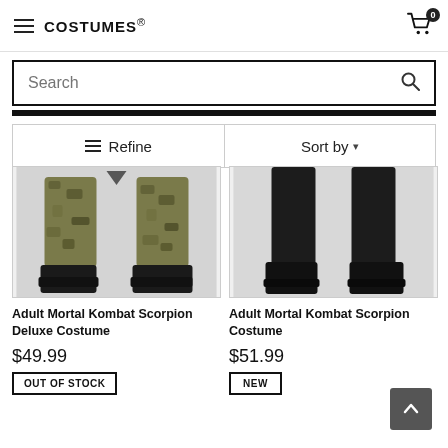COSTUMES (logo) | Cart: 0
Search
≡ Refine | Sort by ▾
[Figure (photo): Product photo showing lower half of a Mortal Kombat Scorpion Deluxe Costume — camouflage-patterned leg coverings and black boots]
Adult Mortal Kombat Scorpion Deluxe Costume
$49.99
OUT OF STOCK
[Figure (photo): Product photo showing lower half of a Mortal Kombat Scorpion Costume — black pants and black boots]
Adult Mortal Kombat Scorpion Costume
$51.99
NEW